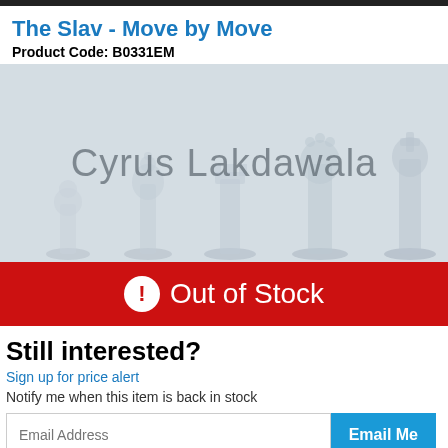The Slav - Move by Move
Product Code: B0331EM
[Figure (photo): Book cover image showing chess pieces in white/grey tones with author name 'Cyrus Lakdawala' overlaid in grey text]
Out of Stock
Still interested?
Sign up for price alert
Notify me when this item is back in stock
Email Address  Email Me